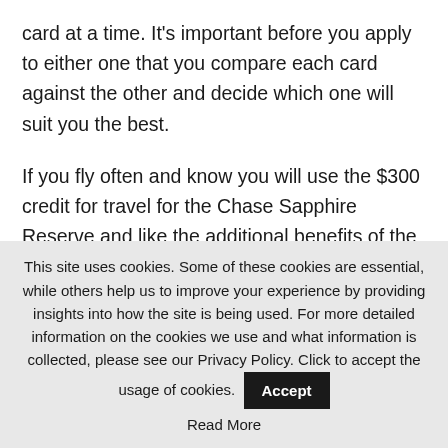card at a time. It's important before you apply to either one that you compare each card against the other and decide which one will suit you the best.

If you fly often and know you will use the $300 credit for travel for the Chase Sapphire Reserve and like the additional benefits of the card, then I would recommend this one over the Preferred. In addition, you get 50% value from the Chase travel portal over the 25% of the Preferred.
This site uses cookies. Some of these cookies are essential, while others help us to improve your experience by providing insights into how the site is being used. For more detailed information on the cookies we use and what information is collected, please see our Privacy Policy. Click to accept the usage of cookies.
Read More